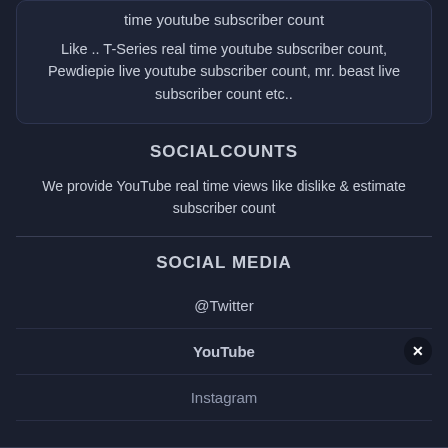time youtube subscriber count
Like .. T-Series real time youtube subscriber count, Pewdiepie live youtube subscriber count, mr. beast live subscriber count etc..
SOCIALCOUNTS
We provide YouTube real time views like dislike & estimate subscriber count
SOCIAL MEDIA
@Twitter
YouTube
Instagram